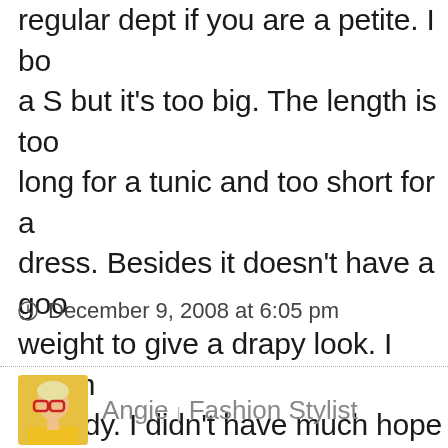regular dept if you are a petite. I bo a S but it's too big. The length is too long for a tunic and too short for a dress. Besides it doesn't have a goo weight to give a drapy look. I return already. I didn't have much hope to have one and now I almost gave up
December 9, 2008 at 6:05 pm
Angie | Fashion Stylist